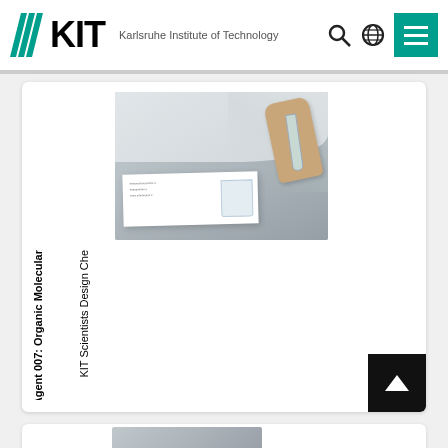KIT - Karlsruhe Institute of Technology
[Figure (photo): Photo of a gloved hand holding a test tube or vial over a paper document on a white surface, laboratory setting]
Agent 007: Organic Molecular
KIT Scientists Design Che